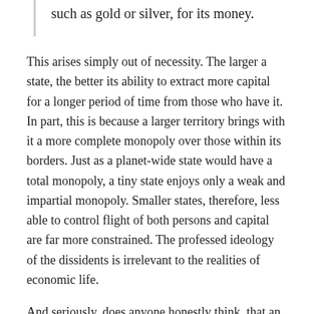such as gold or silver, for its money.
This arises simply out of necessity. The larger a state, the better its ability to extract more capital for a longer period of time from those who have it. In part, this is because a larger territory brings with it a more complete monopoly over those within its borders. Just as a planet-wide state would have a total monopoly, a tiny state enjoys only a weak and impartial monopoly. Smaller states, therefore, less able to control flight of both persons and capital are far more constrained. The professed ideology of the dissidents is irrelevant to the realities of economic life.
And seriously, does anyone honestly think  that an independent Catalonia will go the way of North Korea or Cuba (the great exceptions to the small-state rule)? Do people who believe such obviously outlandish things simultaneously snicker at anarcho-